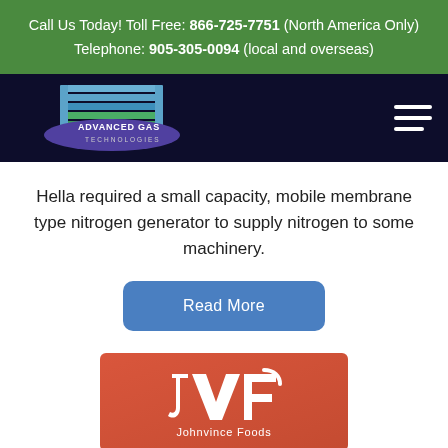Call Us Today! Toll Free: 866-725-7751 (North America Only) Telephone: 905-305-0094 (local and overseas)
[Figure (logo): Advanced Gas Technologies logo on dark navy navigation bar with hamburger menu icon]
Hella required a small capacity, mobile membrane type nitrogen generator to supply nitrogen to some machinery.
[Figure (other): Blue rounded rectangle button with text 'Read More']
[Figure (logo): Johnvince Foods logo on red/coral background with stylized JVF letters]